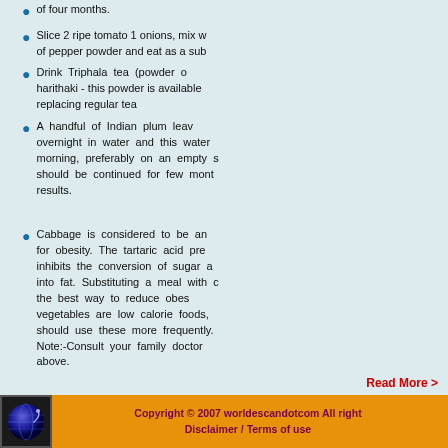of four months.
Slice 2 ripe tomato 1 onions, mix with of pepper powder and eat as a sub
Drink Triphala tea (powder of harithaki - this powder is available replacing regular tea
A handful of Indian plum leaves overnight in water and this water morning, preferably on an empty s should be continued for few mont results.
Cabbage is considered to be an for obesity. The tartaric acid pre inhibits the conversion of sugar a into fat. Substituting a meal with c the best way to reduce obes vegetables are low calorie foods, should use these more frequently. Note:-Consult your family doctor above.
Read More >
Copyright © 2007 worldescandotcom All right Disclaimer / Terms of use